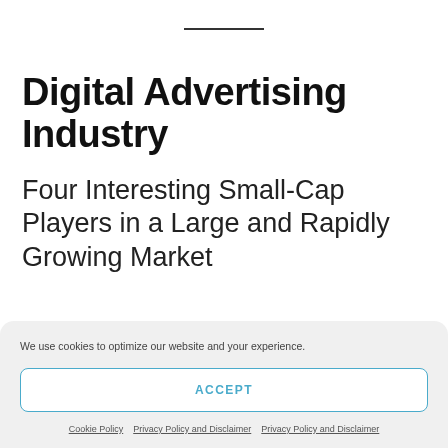Digital Advertising Industry
Four Interesting Small-Cap Players in a Large and Rapidly Growing Market
We use cookies to optimize our website and your experience.
ACCEPT
Cookie Policy | Privacy Policy and Disclaimer | Privacy Policy and Disclaimer